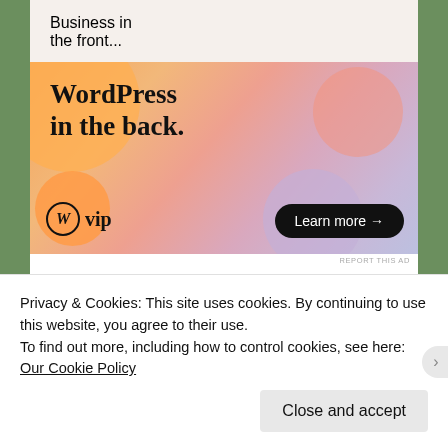Business in the front...
[Figure (illustration): WordPress VIP advertisement banner with colorful blob shapes. Text reads 'WordPress in the back.' with WordPress VIP logo and 'Learn more →' button.]
REPORT THIS AD
Privacy & Cookies: This site uses cookies. By continuing to use this website, you agree to their use.
To find out more, including how to control cookies, see here: Our Cookie Policy
Close and accept